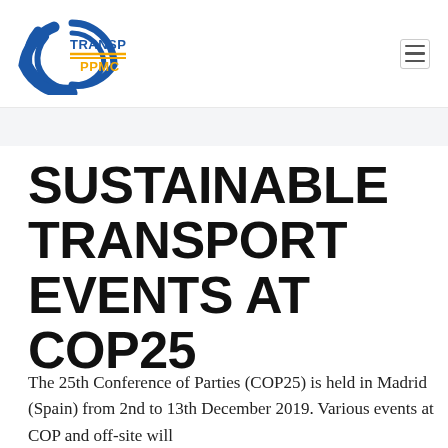[Figure (logo): Transport PPMC logo with circular arc tire graphic in blue and text 'TRANSPORT PPMC' with blue and yellow colors]
SUSTAINABLE TRANSPORT EVENTS AT COP25
The 25th Conference of Parties (COP25) is held in Madrid (Spain) from 2nd to 13th December 2019. Various events at COP and off-site will